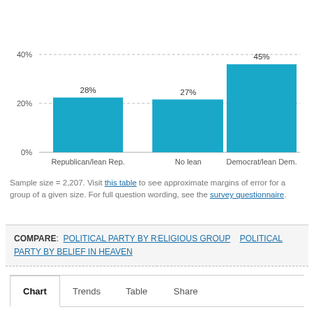[Figure (bar-chart): ]
Sample size = 2,207. Visit this table to see approximate margins of error for a group of a given size. For full question wording, see the survey questionnaire.
COMPARE: POLITICAL PARTY BY RELIGIOUS GROUP   POLITICAL PARTY BY BELIEF IN HEAVEN
Chart   Trends   Table   Share